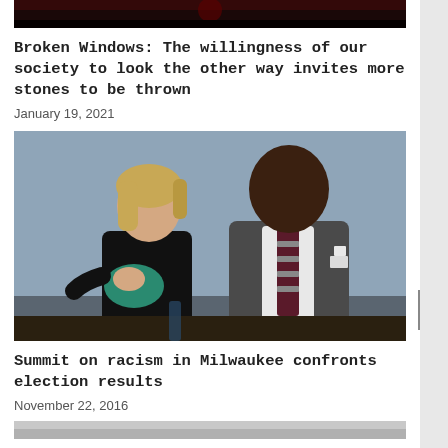[Figure (photo): Top image strip showing a dark/red toned background image, partially cut off at top]
Broken Windows: The willingness of our society to look the other way invites more stones to be thrown
January 19, 2021
[Figure (photo): Photo of two people: a blonde woman in a black jacket on the left gesturing with her hand on her chest, and a tall Black man in a gray suit with a patterned tie on the right, both appearing to be at a panel or summit event]
Summit on racism in Milwaukee confronts election results
November 22, 2016
[Figure (photo): Bottom strip of another image, partially visible]